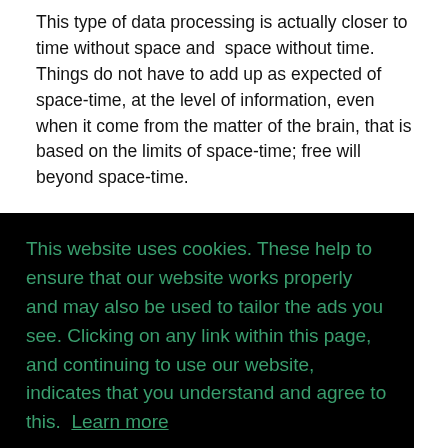This type of data processing is actually closer to time without space and  space without time. Things do not have to add up as expected of space-time, at the level of information, even when it come from the matter of the brain, that is based on the limits of space-time; free will beyond space-time.
On the other hand, if I was a development engineer
[Figure (screenshot): Cookie consent banner overlay with dark black background. Text in green reads: 'This website uses cookies. These help to ensure that our website works properly and may also be used to tailor the ads you see. Clicking on any link within this page, and continuing to use our website, indicates that you understand and agree to this. Learn more'. Below is a teal rounded 'Got it!' button.]
be unlimited, since space-time constraints are not